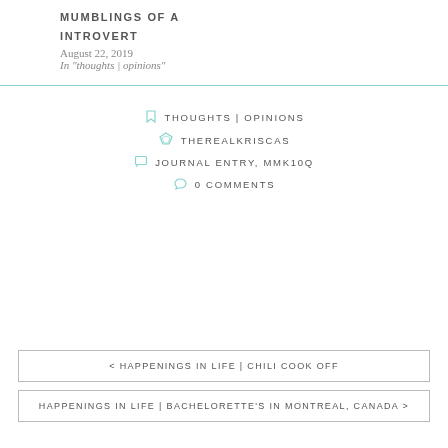MUMBLINGS OF A INTROVERT
August 22, 2019
In "thoughts | opinions"
THOUGHTS | OPINIONS
THEREALKRISCAS
JOURNAL ENTRY, MMK10Q
0 COMMENTS
< HAPPENINGS IN LIFE | CHILI COOK OFF
HAPPENINGS IN LIFE | BACHELORETTE'S IN MONTREAL, CANADA >